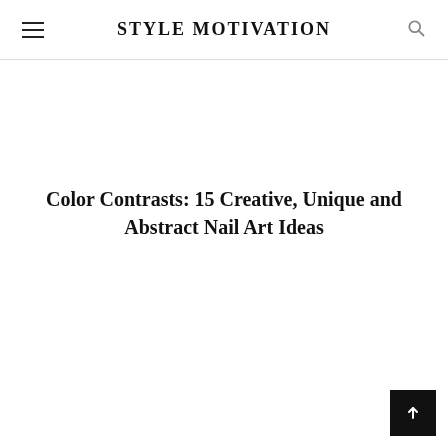STYLE MOTIVATION
Color Contrasts: 15 Creative, Unique and Abstract Nail Art Ideas